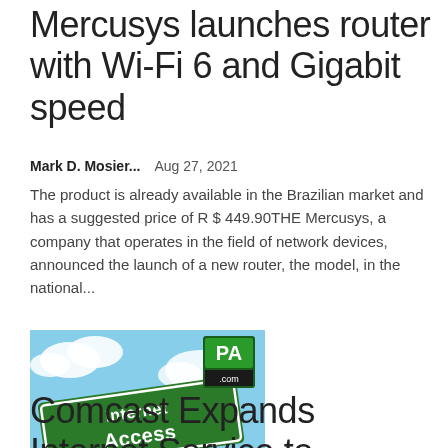Mercusys launches router with Wi-Fi 6 and Gigabit speed
Mark D. Mosier...   Aug 27, 2021
The product is already available in the Brazilian market and has a suggested price of R $ 449.90THE Mercusys, a company that operates in the field of network devices, announced the launch of a new router, the model, in the national...
[Figure (photo): Street sign reading 'Internet Access' against a blue sky with clouds. A small PA.com logo appears in the top right corner of the image.]
Comcast Expands Internet Service to Sullivan County,